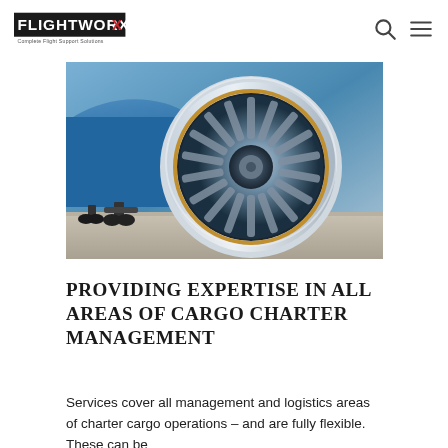FLIGHTWORX — Complete Flight Support Solutions
[Figure (photo): Close-up photograph of a commercial jet aircraft engine turbine from below-front angle, with the blue fuselage and landing gear visible in background on a tarmac.]
PROVIDING EXPERTISE IN ALL AREAS OF CARGO CHARTER MANAGEMENT
Services cover all management and logistics areas of charter cargo operations – and are fully flexible. These can be